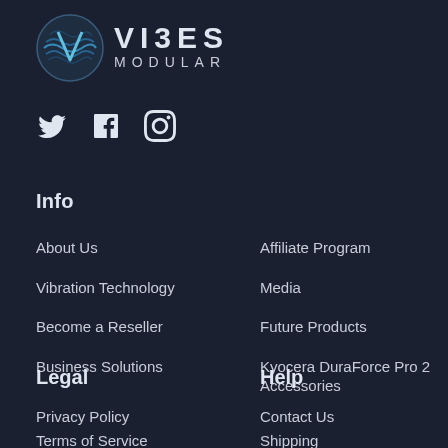[Figure (logo): Vibes Modular logo: circular emblem with wave pattern in teal/blue tones, followed by text 'VIBES MODULAR']
[Figure (infographic): Social media icons: Twitter bird, Facebook F, Instagram camera outline]
Info
About Us
Affiliate Program
Vibration Technology
Media
Become a Reseller
Future Products
Business Solutions
Kyocera DuraForce Pro 2 Accessories
Legal
Help
Privacy Policy
Contact Us
Terms of Service
Shipping